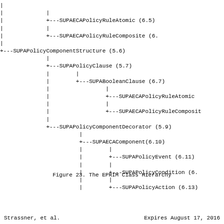[Figure (other): EPRIM Class Hierarchy tree diagram showing inheritance structure with nodes: SUPAECAPolicyRuleAtomic (6.5), SUPAECAPolicyRuleComposite (6.x), SUPAPolicyComponentStructure (5.6), SUPAPolicyClause (5.7), SUPABooleanClause (6.7), SUPAECAPolicyRuleAtomic, SUPAECAPolicyRuleComposit, SUPAPolicyComponentDecorator (5.9), SUPAECAComponent(6.10), SUPAPolicyEvent (6.11), SUPAPolicyCondition (6.x), SUPAPolicyAction (6.13)]
Figure 23.  The EPRIM Class Hierarchy
Strassner, et al.        Expires August 17, 2016